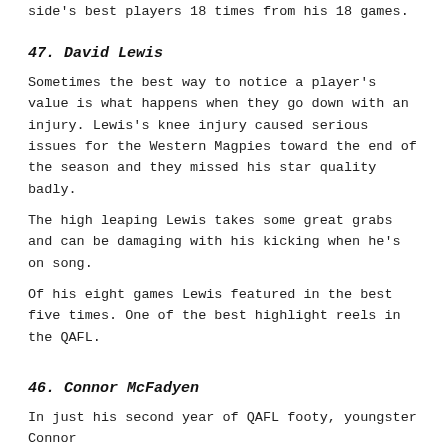side's best players 18 times from his 18 games.
47. David Lewis
Sometimes the best way to notice a player's value is what happens when they go down with an injury. Lewis's knee injury caused serious issues for the Western Magpies toward the end of the season and they missed his star quality badly.
The high leaping Lewis takes some great grabs and can be damaging with his kicking when he's on song.
Of his eight games Lewis featured in the best five times. One of the best highlight reels in the QAFL.
46. Connor McFadyen
In just his second year of QAFL footy, youngster Connor